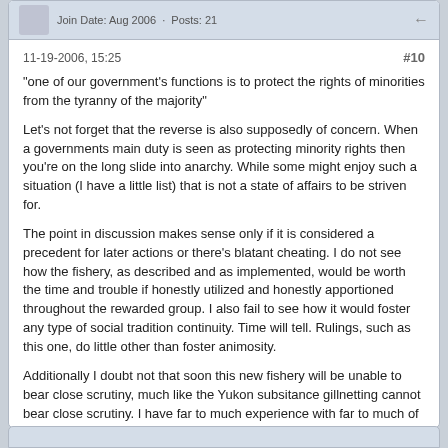Join Date: Aug 2006 · Posts: 21
11-19-2006, 15:25   #10
"one of our government's functions is to protect the rights of minorities from the tyranny of the majority"
Let's not forget that the reverse is also supposedly of concern. When a governments main duty is seen as protecting minority rights then you're on the long slide into anarchy. While some might enjoy such a situation (I have a little list) that is not a state of affairs to be striven for.
The point in discussion makes sense only if it is considered a precedent for later actions or there's blatant cheating. I do not see how the fishery, as described and as implemented, would be worth the time and trouble if honestly utilized and honestly apportioned throughout the rewarded group. I also fail to see how it would foster any type of social tradition continuity. Time will tell. Rulings, such as this one, do little other than foster animosity.
Additionally I doubt not that soon this new fishery will be unable to bear close scrutiny, much like the Yukon subsitance gillnetting cannot bear close scrutiny. I have far to much experience with far to much of humanity to accept the concept that ethnicity is some guarantee of impeccable moral standards. People are people.